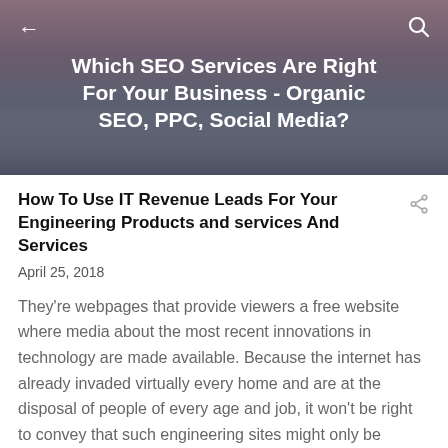[Figure (photo): Header banner with landscape/mountain silhouette at dusk with gradient sky, overlaid with navigation back arrow, search icon, and article title text]
Which SEO Services Are Right For Your Business - Organic SEO, PPC, Social Media?
How To Use IT Revenue Leads For Your Engineering Products and services And Services
April 25, 2018
They're webpages that provide viewers a free website where media about the most recent innovations in technology are made available. Because the internet has already invaded virtually every home and are at the disposal of people of every age and job, it won't be right to convey that such engineering sites might only be recognized by tech geeks mini projector best buy.